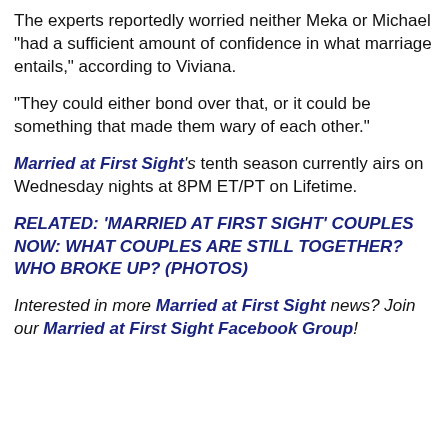The experts reportedly worried neither Meka or Michael "had a sufficient amount of confidence in what marriage entails," according to Viviana.
"They could either bond over that, or it could be something that made them wary of each other."
Married at First Sight's tenth season currently airs on Wednesday nights at 8PM ET/PT on Lifetime.
RELATED: 'MARRIED AT FIRST SIGHT' COUPLES NOW: WHAT COUPLES ARE STILL TOGETHER? WHO BROKE UP? (PHOTOS)
Interested in more Married at First Sight news? Join our Married at First Sight Facebook Group!